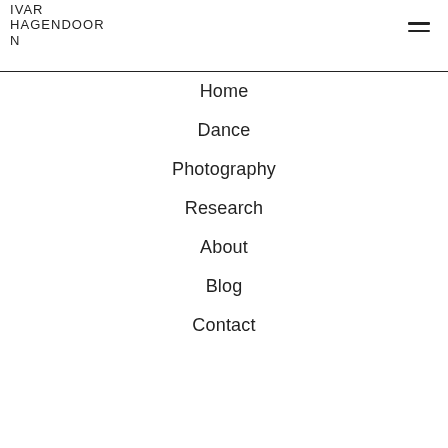IVAR HAGENDOORN
Home
Dance
Photography
Research
About
Blog
Contact